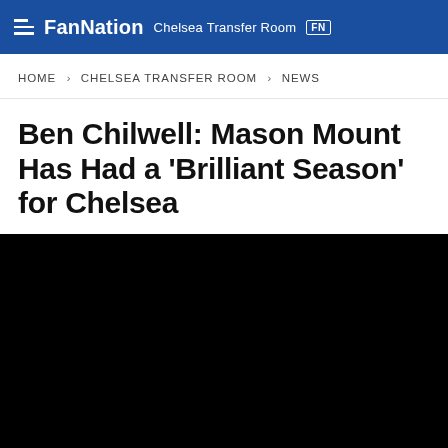FanNation Chelsea Transfer Room
HOME > CHELSEA TRANSFER ROOM > NEWS
Ben Chilwell: Mason Mount Has Had a 'Brilliant Season' for Chelsea
NICK EMMS • MAY 24, 2022 7:00 AM EDT
[Figure (photo): Black/dark image placeholder below the article header]